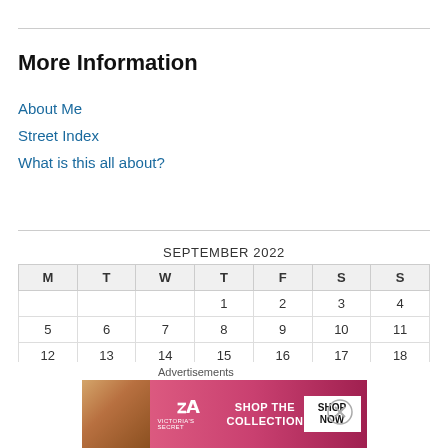More Information
About Me
Street Index
What is this all about?
| M | T | W | T | F | S | S |
| --- | --- | --- | --- | --- | --- | --- |
|  |  |  | 1 | 2 | 3 | 4 |
| 5 | 6 | 7 | 8 | 9 | 10 | 11 |
| 12 | 13 | 14 | 15 | 16 | 17 | 18 |
| 19 | 20 | 21 | 22 | 23 | 24 | 25 |
SEPTEMBER 2022
[Figure (photo): Victoria's Secret advertisement banner with model, VS logo, SHOP THE COLLECTION text, and SHOP NOW button]